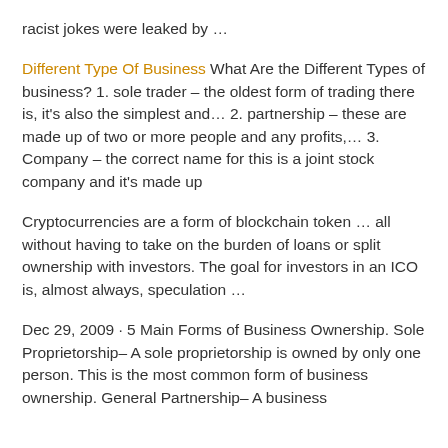racist jokes were leaked by …
Different Type Of Business What Are the Different Types of business? 1. sole trader – the oldest form of trading there is, it's also the simplest and… 2. partnership – these are made up of two or more people and any profits,… 3. Company – the correct name for this is a joint stock company and it's made up
Cryptocurrencies are a form of blockchain token … all without having to take on the burden of loans or split ownership with investors. The goal for investors in an ICO is, almost always, speculation …
Dec 29, 2009 · 5 Main Forms of Business Ownership. Sole Proprietorship– A sole proprietorship is owned by only one person. This is the most common form of business ownership. General Partnership– A business